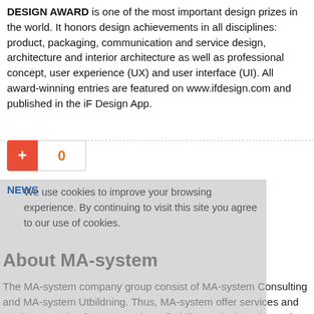DESIGN AWARD is one of the most important design prizes in the world. It honors design achievements in all disciplines: product, packaging, communication and service design, architecture and interior architecture as well as professional concept, user experience (UX) and user interface (UI). All award-winning entries are featured on www.ifdesign.com and published in the iF Design App.
[Figure (other): A red plus button and a counter box showing 0 in orange text]
NEWS
We use cookies to improve your browsing experience. By continuing to visit this site you agree to our use of cookies.
About MA-system
The MA-system company group consist of MA-system Consulting and MA-system Utbildning. Thus, MA-system offer services and products ranging from strategic profitability analysis and Supply